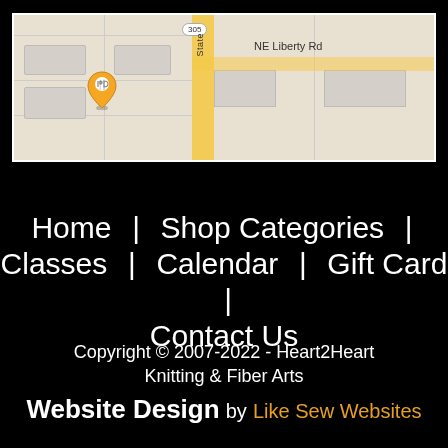[Figure (map): Google Maps screenshot showing NE Liberty Rd and State route 305, with a restaurant/food pin marker on the left side of the map.]
Home  |  Shop Categories  |  Classes  |  Calendar  |  Gift Card  |  Contact Us
Copyright © 2007-2022 - Heart2Heart Knitting & Fiber Arts
Website Design by Like Sew Websites